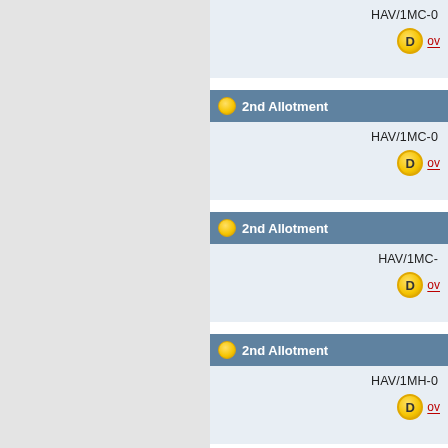HAV/1MC-0 — D [partial, top]
2nd Allotment — HAV/1MC-0 — D
2nd Allotment — HAV/1MC- — D
2nd Allotment — HAV/1MH-0 — D
2nd Allotment [partial, bottom]